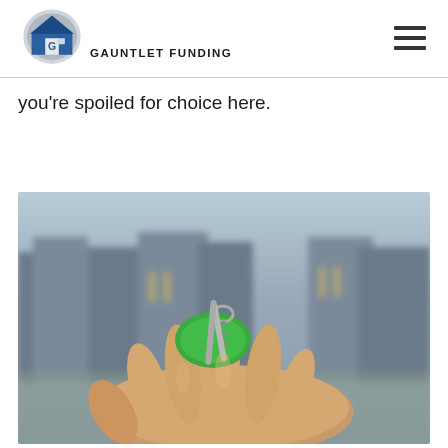Gauntlet Funding
you're spoiled for choice here.
[Figure (photo): A hand holding house keys with a green keychain/fob in the foreground, with blurred residential townhouses in the background.]